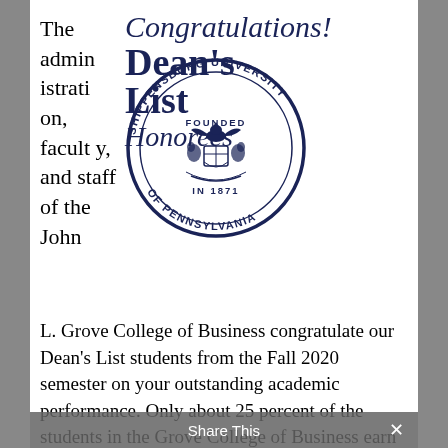[Figure (logo): Shippensburg University seal/logo with text 'Congratulations! Dean's List Honorees' beside it]
The administration, faculty, and staff of the John L. Grove College of Business congratulate our Dean's List students from the Fall 2020 semester on your outstanding academic performance. Only about 25 percent of the students in the Grove College of Business earn this honor each semester. This academic distinction serves as recognition for the effort
Share This ×